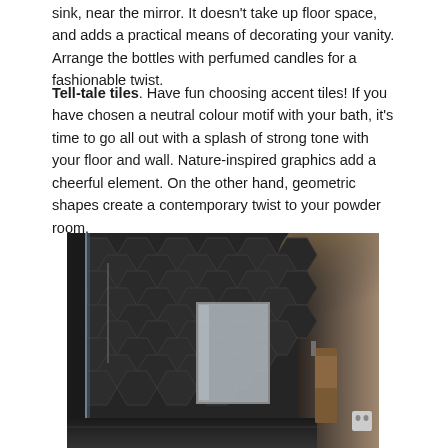sink, near the mirror. It doesn't take up floor space, and adds a practical means of decorating your vanity. Arrange the bottles with perfumed candles for a fashionable twist.
Tell-tale tiles. Have fun choosing accent tiles! If you have chosen a neutral colour motif with your bath, it's time to go all out with a splash of strong tone with your floor and wall. Nature-inspired graphics add a cheerful element. On the other hand, geometric shapes create a contemporary twist to your powder room.
[Figure (photo): Bathroom interior with dark hexagonal wall tiles, a rectangular mirror, a hanging brown towel, and a glass shower partition. The tiles are dark grey geometric hexagon pattern. A warm light illuminates the upper right area of the wall.]